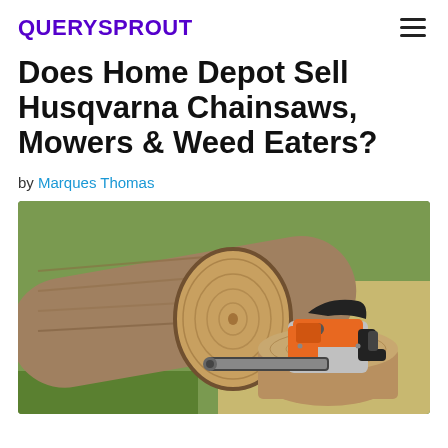QUERYSPROUT
Does Home Depot Sell Husqvarna Chainsaws, Mowers & Weed Eaters?
by Marques Thomas
[Figure (photo): An orange and grey chainsaw resting on a cut log stump outdoors, with a large felled tree trunk in the background and grass visible.]